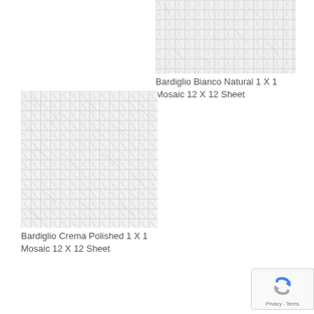[Figure (photo): Bardiglio Bianco Natural 1 X 1 Mosaic tile sheet photo — grid of small white/grey marble mosaic squares]
Bardiglio Bianco Natural 1 X 1 Mosaic 12 X 12 Sheet
[Figure (photo): Bardiglio Crema Polished 1 X 1 Mosaic tile sheet photo — grid of small white/grey marble mosaic squares with subtle veining]
Bardiglio Crema Polished 1 X 1 Mosaic 12 X 12 Sheet